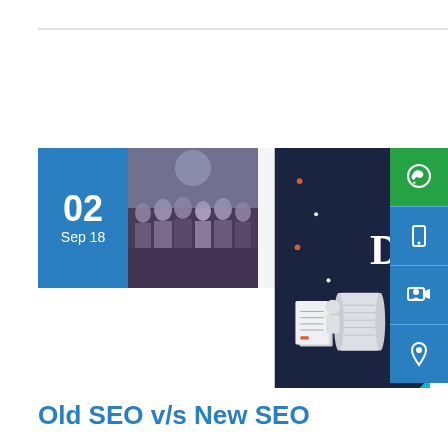[Figure (other): Date badge showing '02 Sep 18', thumbnail of group photo, comment icon with count 0]
[Figure (infographic): Infographic titled 'The Old DAYS vs New Days of GOOGLE' showing old vs new SEO concepts with illustrated documents, devices, and colorful text on dark navy background. Side buttons include WhatsApp, phone, video, and location icons.]
Old SEO v/s New SEO